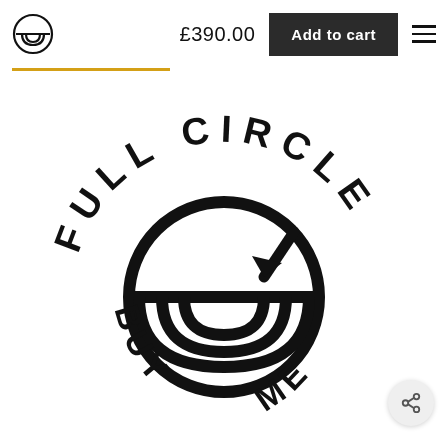[Figure (logo): Full Circle brand logo in navbar — circular icon with layered arcs and line through middle]
£390.00
Add to cart
[Figure (logo): Full Circle brand seal logo — large circular badge with text FULL CIRCLE arched on top, BUY on bottom left, ME on bottom right, with concentric arc icon in center and arrow pointing inward]